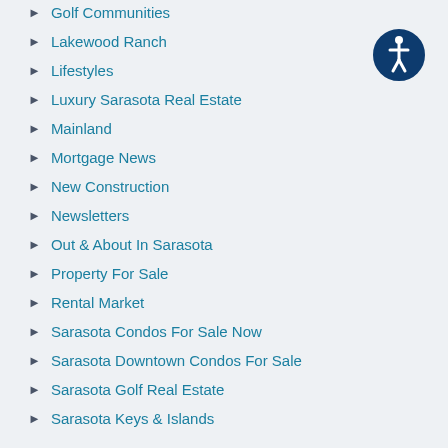Golf Communities
Lakewood Ranch
Lifestyles
Luxury Sarasota Real Estate
Mainland
Mortgage News
New Construction
Newsletters
Out & About In Sarasota
Property For Sale
Rental Market
Sarasota Condos For Sale Now
Sarasota Downtown Condos For Sale
Sarasota Golf Real Estate
Sarasota Keys & Islands
[Figure (illustration): Accessibility icon - circle with person figure inside, dark blue border]